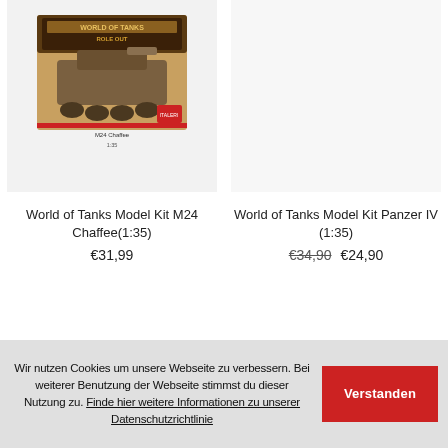[Figure (photo): World of Tanks Model Kit M24 Chaffee box product image on light grey background]
World of Tanks Model Kit M24 Chaffee(1:35)
€31,99
[Figure (photo): Empty light grey background placeholder for World of Tanks Model Kit Panzer IV product image]
World of Tanks Model Kit Panzer IV (1:35)
€34,90  €24,90
Wir nutzen Cookies um unsere Webseite zu verbessern. Bei weiterer Benutzung der Webseite stimmst du dieser Nutzung zu. Finde hier weitere Informationen zu unserer Datenschutzrichtlinie